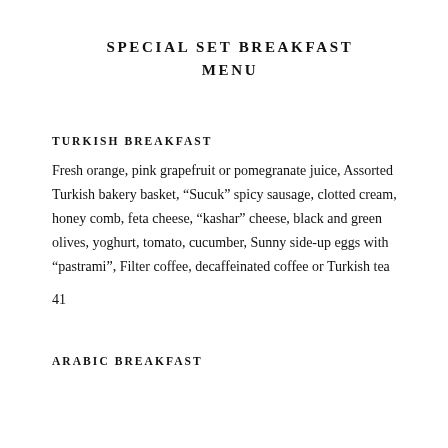SPECIAL SET BREAKFAST MENU
TURKISH BREAKFAST
Fresh orange, pink grapefruit or pomegranate juice, Assorted Turkish bakery basket, “Sucuk” spicy sausage, clotted cream, honey comb, feta cheese, “kashar” cheese, black and green olives, yoghurt, tomato, cucumber, Sunny side-up eggs with “pastrami”, Filter coffee, decaffeinated coffee or Turkish tea
41
ARABIC BREAKFAST